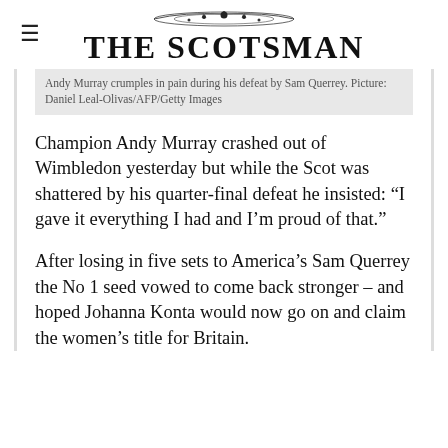THE SCOTSMAN
Andy Murray crumples in pain during his defeat by Sam Querrey. Picture: Daniel Leal-Olivas/AFP/Getty Images
Champion Andy Murray crashed out of Wimbledon yesterday but while the Scot was shattered by his quarter-final defeat he insisted: “I gave it everything I had and I’m proud of that.”
After losing in five sets to America’s Sam Querrey the No 1 seed vowed to come back stronger – and hoped Johanna Konta would now go on and claim the women’s title for Britain.